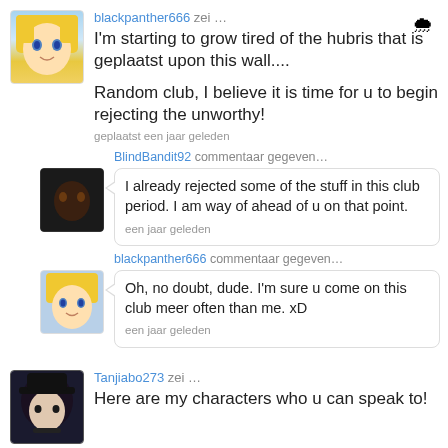blackpanther666 zei …
I'm starting to grow tired of the hubris that is geplaatst upon this wall....

Random club, I believe it is time for u to begin rejecting the unworthy!
geplaatst een jaar geleden
BlindBandit92 commentaar gegeven…
I already rejected some of the stuff in this club period. I am way of ahead of u on that point.
een jaar geleden
blackpanther666 commentaar gegeven…
Oh, no doubt, dude. I'm sure u come on this club meer often than me. xD
een jaar geleden
Tanjiabo273 zei …
Here are my characters who u can speak to!